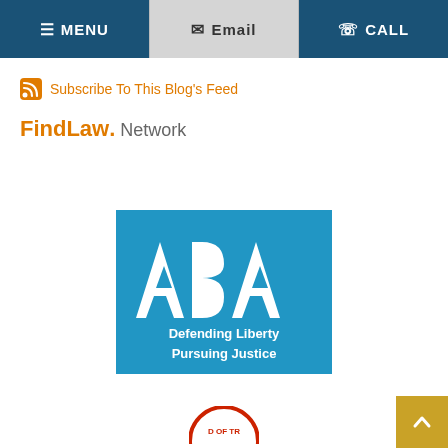MENU | Email | CALL
Subscribe To This Blog's Feed
FindLaw. Network
[Figure (logo): ABA (American Bar Association) logo on blue background with white text 'Defending Liberty Pursuing Justice']
[Figure (logo): Partial circular badge at bottom center, partially cropped]